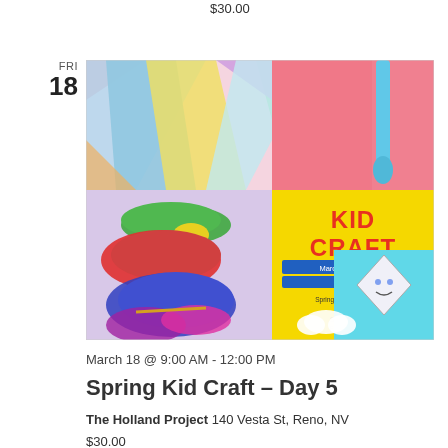$30.00
FRI
18
[Figure (illustration): Colorful collage promotional image for Kid Craft spring workshops. Features rainbow-colored paper strips, colorful yarn bundles, a crochet hook on pink background, a cute kite with clouds on teal background, and a yellow center panel with red 'KID CRAFT' text and event details: March 14-18, 2023, 9am-12pm, Spring craft workshops for ages 5-12!, Single Day: $30, Full Week: $120, at The Holland Project, 140 Vesta St, Reno, NV.]
March 18 @ 9:00 AM - 12:00 PM
Spring Kid Craft – Day 5
The Holland Project 140 Vesta St, Reno, NV
$30.00